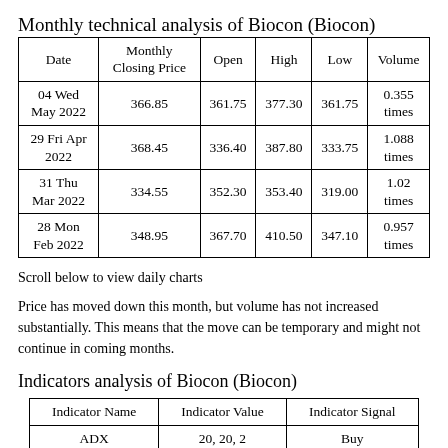Monthly technical analysis of Biocon (Biocon)
| Date | Monthly Closing Price | Open | High | Low | Volume |
| --- | --- | --- | --- | --- | --- |
| 04 Wed May 2022 | 366.85 | 361.75 | 377.30 | 361.75 | 0.355 times |
| 29 Fri Apr 2022 | 368.45 | 336.40 | 387.80 | 333.75 | 1.088 times |
| 31 Thu Mar 2022 | 334.55 | 352.30 | 353.40 | 319.00 | 1.02 times |
| 28 Mon Feb 2022 | 348.95 | 367.70 | 410.50 | 347.10 | 0.957 times |
Scroll below to view daily charts
Price has moved down this month, but volume has not increased substantially. This means that the move can be temporary and might not continue in coming months.
Indicators analysis of Biocon (Biocon)
| Indicator Name | Indicator Value | Indicator Signal |
| --- | --- | --- |
| ADX | 20, 20, 2 | Buy |